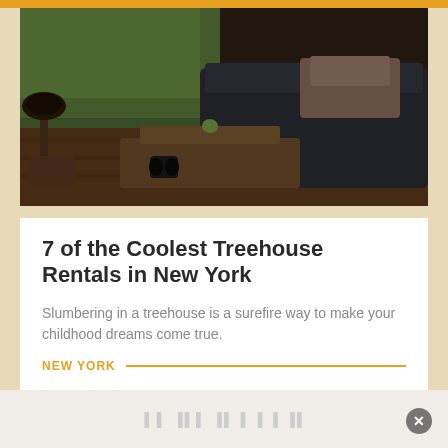[Figure (photo): Interior of a rustic treehouse cabin with dark sofa, wooden coffee table, large windows overlooking green trees, lamp, and cozy blankets]
7 of the Coolest Treehouse Rentals in New York
Slumbering in a treehouse is a surefire way to make your childhood dreams come true.
NEW YORK
[Figure (photo): Wide open beach scene with blue sky, clouds, and sandy shoreline with distant rock formations]